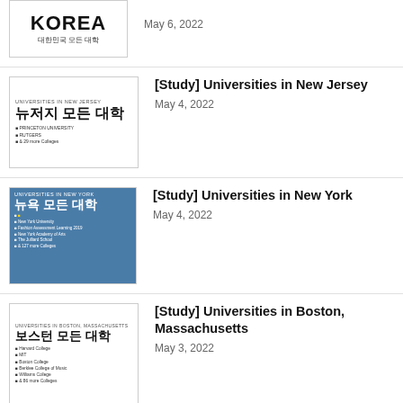[Figure (illustration): Thumbnail for Universities in Korea post - shows KOREA text in bold with Korean subtitle 대한민국 모든 대학, partially cropped at top]
May 6, 2022
[Figure (illustration): Thumbnail for Universities in New Jersey - white background with Korean title 뉴저지 모든 대학 and bullet list including Princeton University, Rutgers, & 29 more Colleges]
[Study] Universities in New Jersey
May 4, 2022
[Figure (illustration): Thumbnail for Universities in New York - blue/city background with Korean title 뉴욕 모든 대학 and bullet list including New York University, Fashion Assessment Learning 2019, New York Academy of Arts, The Julliard School, & 127 more Colleges]
[Study] Universities in New York
May 4, 2022
[Figure (illustration): Thumbnail for Universities in Boston Massachusetts - white background with Korean title 보스턴 모든 대학 and bullets including Harvard College, MIT, Boston College, Berklee College of Music, Williams College, & 86 more Colleges]
[Study] Universities in Boston, Massachusetts
May 3, 2022
[Figure (photo): Thumbnail showing pink/magenta royal azalea flowers blooming densely]
[Travel] Royal Azalea Garden
May 3, 2022